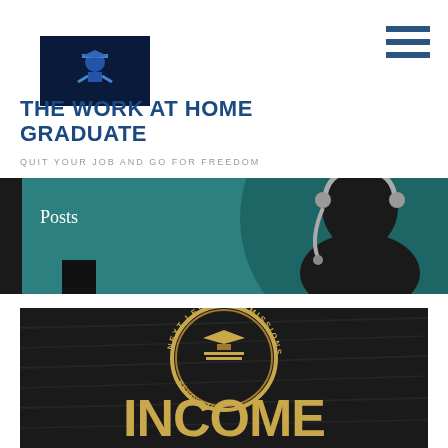[Figure (logo): Work At Home Graduate logo: dark navy blue box with a person and graduation cap icon in blue and white]
THE WORK AT HOME GRADUATE
QUIT YOUR JOB AND GO FOR FREEDOM
[Figure (illustration): Teal/dark green banner strip with silhouette of a person wearing a headset microphone on the right side]
Posts
[Figure (illustration): Dark textured background with a gold emblem/seal reading NEXT LEVEL COMMISSIONS and the word INCOME in large gold letters]